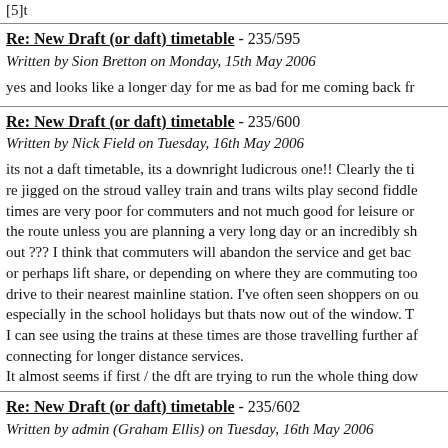[5]t
Re: New Draft (or daft) timetable - 235/595
Written by Sion Bretton on Monday, 15th May 2006
yes and looks like a longer day for me as bad for me coming back fr
Re: New Draft (or daft) timetable - 235/600
Written by Nick Field on Tuesday, 16th May 2006
its not a daft timetable, its a downright ludicrous one!!  Clearly the ti re jigged on the stroud valley train and trans wilts play second fiddle times are very poor for commuters and not much good for leisure or the route unless you are planning a very long day or an incredibly sh out ???  I think that commuters will abandon the service and get bac or perhaps lift share, or depending on where they are commuting too drive to their nearest mainline station.  I've often seen shoppers on ou especially in the school holidays but thats now out of the window.  T I can see using the trains at these times are those travelling further af connecting for longer distance services.
It almost seems if first / the dft are trying to run the whole thing dow
Re: New Draft (or daft) timetable - 235/602
Written by admin (Graham Ellis) on Tuesday, 16th May 2006
[quote author=Nick Field link=topic=235.msg600#msg600 date=14